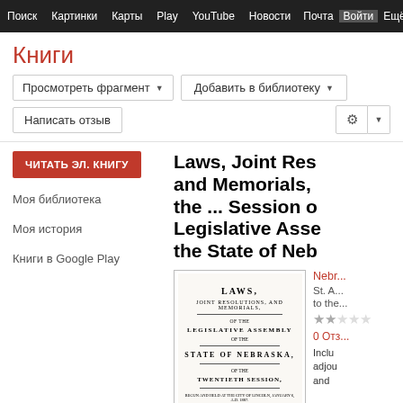Поиск  Картинки  Карты  Play  YouTube  Новости  Почта  Войти  Ещё
Книги
Просмотреть фрагмент ▾
Добавить в библиотеку ▾
Написать отзыв
Моя библиотека
Моя история
Книги в Google Play
ЧИТАТЬ ЭЛ. КНИГУ
Laws, Joint Res and Memorials, the ... Session o Legislative Asse the State of Neb
[Figure (illustration): Book cover thumbnail showing title page: LAWS, JOINT RESOLUTIONS, AND MEMORIALS, OF THE LEGISLATIVE ASSEMBLY OF THE STATE OF NEBRASKA, OF THE TWENTIETH SESSION, printed text on aged paper, PUBLISHED BY AUTHORITY]
Nebraska...
St. A...
to the...
0 Отз...
Inclu adjou and